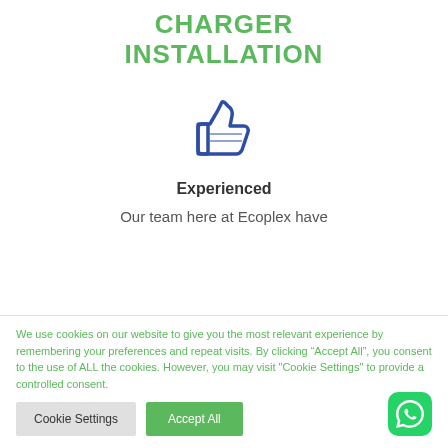CHARGER INSTALLATION
[Figure (illustration): Blue thumbs up icon]
Experienced
Our team here at Ecoplex have
We use cookies on our website to give you the most relevant experience by remembering your preferences and repeat visits. By clicking “Accept All”, you consent to the use of ALL the cookies. However, you may visit "Cookie Settings" to provide a controlled consent.